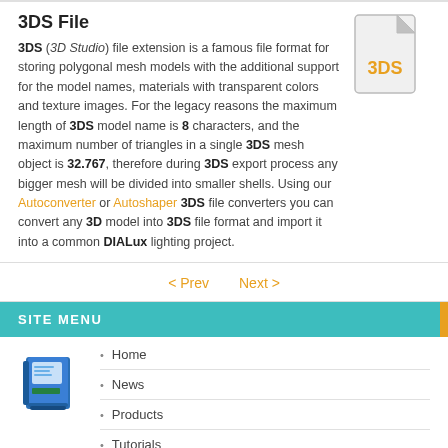3DS File
[Figure (illustration): Gray file icon with folded corner and orange '3DS' text label inside]
3DS (3D Studio) file extension is a famous file format for storing polygonal mesh models with the additional support for the model names, materials with transparent colors and texture images. For the legacy reasons the maximum length of 3DS model name is 8 characters, and the maximum number of triangles in a single 3DS mesh object is 32.767, therefore during 3DS export process any bigger mesh will be divided into smaller shells. Using our Autoconverter or Autoshaper 3DS file converters you can convert any 3D model into 3DS file format and import it into a common DIALux lighting project.
< Prev    Next >
SITE MENU
[Figure (illustration): Small blue software product box icon]
Home
News
Products
Tutorials